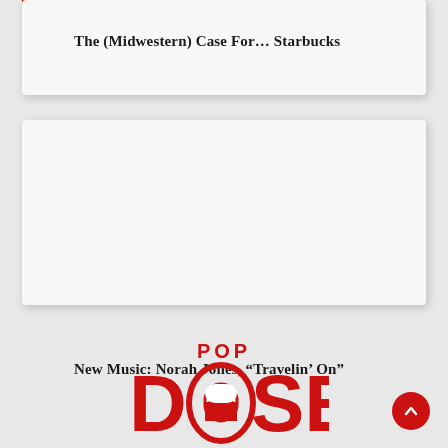The (Midwestern) Case For… Starbucks
New Music: Norah Jones, “Travelin’ On”
[Figure (logo): Popdose logo in red with pill graphic inside the letter O]